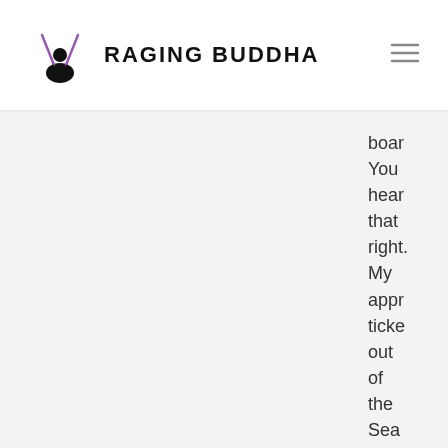Raging Buddha
board. You heard that right. My appro ticket out of the Sea Org that I begged and plead for.